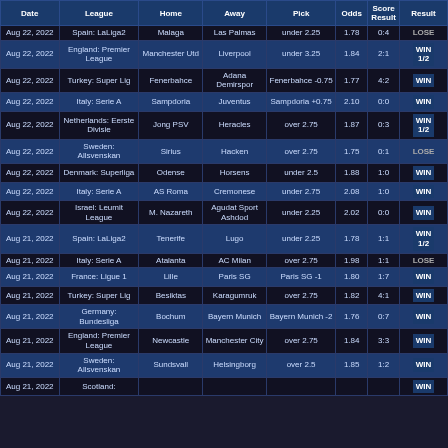| Date | League | Home | Away | Pick | Odds | Score | Result |
| --- | --- | --- | --- | --- | --- | --- | --- |
| Aug 22, 2022 | Spain: LaLiga2 | Malaga | Las Palmas | under 2.25 | 1.78 | 0:4 | LOSE |
| Aug 22, 2022 | England: Premier League | Manchester Utd | Liverpool | under 3.25 | 1.84 | 2:1 | WIN 1/2 |
| Aug 22, 2022 | Turkey: Super Lig | Fenerbahce | Adana Demirspor | Fenerbahce -0.75 | 1.77 | 4:2 | WIN |
| Aug 22, 2022 | Italy: Serie A | Sampdoria | Juventus | Sampdoria +0.75 | 2.10 | 0:0 | WIN |
| Aug 22, 2022 | Netherlands: Eerste Divisie | Jong PSV | Heracles | over 2.75 | 1.87 | 0:3 | WIN 1/2 |
| Aug 22, 2022 | Sweden: Allsvenskan | Sirius | Hacken | over 2.75 | 1.75 | 0:1 | LOSE |
| Aug 22, 2022 | Denmark: Superliga | Odense | Horsens | under 2.5 | 1.88 | 1:0 | WIN |
| Aug 22, 2022 | Italy: Serie A | AS Roma | Cremonese | under 2.75 | 2.08 | 1:0 | WIN |
| Aug 22, 2022 | Israel: Leumit League | M. Nazareth | Agudat Sport Ashdod | under 2.25 | 2.02 | 0:0 | WIN |
| Aug 21, 2022 | Spain: LaLiga2 | Tenerife | Lugo | under 2.25 | 1.78 | 1:1 | WIN 1/2 |
| Aug 21, 2022 | Italy: Serie A | Atalanta | AC Milan | over 2.75 | 1.98 | 1:1 | LOSE |
| Aug 21, 2022 | France: Ligue 1 | Lille | Paris SG | Paris SG -1 | 1.80 | 1:7 | WIN |
| Aug 21, 2022 | Turkey: Super Lig | Besiktas | Karagumruk | over 2.75 | 1.82 | 4:1 | WIN |
| Aug 21, 2022 | Germany: Bundesliga | Bochum | Bayern Munich | Bayern Munich -2 | 1.76 | 0:7 | WIN |
| Aug 21, 2022 | England: Premier League | Newcastle | Manchester City | over 2.75 | 1.84 | 3:3 | WIN |
| Aug 21, 2022 | Sweden: Allsvenskan | Sundsvall | Helsingborg | over 2.5 | 1.85 | 1:2 | WIN |
| Aug 21, 2022 | Scotland: ... |  |  |  |  |  | WIN |